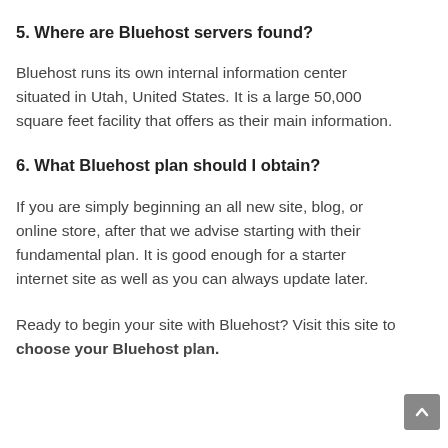5. Where are Bluehost servers found?
Bluehost runs its own internal information center situated in Utah, United States. It is a large 50,000 square feet facility that offers as their main information.
6. What Bluehost plan should I obtain?
If you are simply beginning an all new site, blog, or online store, after that we advise starting with their fundamental plan. It is good enough for a starter internet site as well as you can always update later.
Ready to begin your site with Bluehost? Visit this site to choose your Bluehost plan.